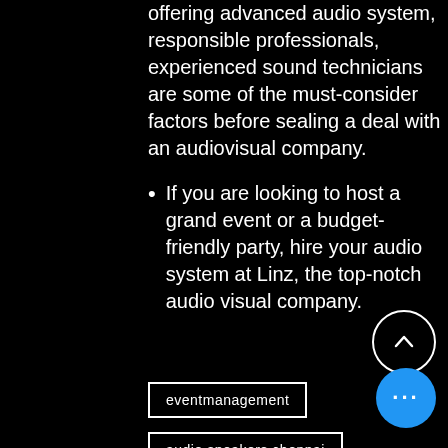offering advanced audio system, responsible professionals, experienced sound technicians are some of the must-consider factors before sealing a deal with an audiovisual company.
If you are looking to host a grand event or a budget-friendly party, hire your audio system at Linz, the top-notch audio visual company.
eventmanagement
audio speakers chennai
dj in chennai
dj speaker rental
event party sound system rental
party speakers for rent